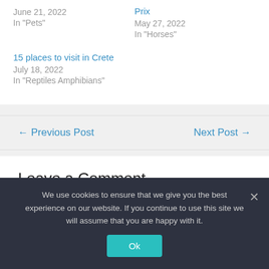June 21, 2022
In "Pets"
Prix
May 27, 2022
In "Horses"
15 places to visit in Crete
July 18, 2022
In "Reptiles Amphibians"
← Previous Post
Next Post →
Leave a Comment
We use cookies to ensure that we give you the best experience on our website. If you continue to use this site we will assume that you are happy with it.